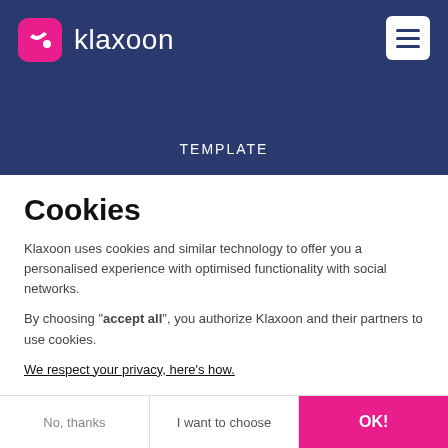klaxoon
TEMPLATE
Cookies
Klaxoon uses cookies and similar technology to offer you a personalised experience with optimised functionality with social networks.
By choosing "accept all", you authorize Klaxoon and their partners to use cookies.
We respect your privacy, here's how.
Consents certified by axeptio
No, thanks
I want to choose
OK!